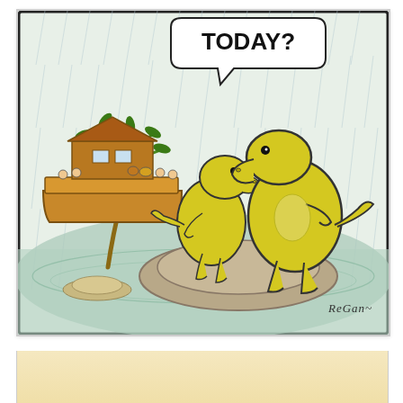[Figure (illustration): A humorous cartoon by Regan depicting two yellow T-Rex dinosaurs standing on a rocky outcrop surrounded by floodwater. Noah's Ark is visible in the background with animals and people on board. A speech bubble above the dinosaurs reads 'TODAY?' suggesting they missed the boat. A palm tree on a tiny island is nearby. Rain streaks fill the sky. Artist signature 'ReGan~' appears in the lower right corner.]